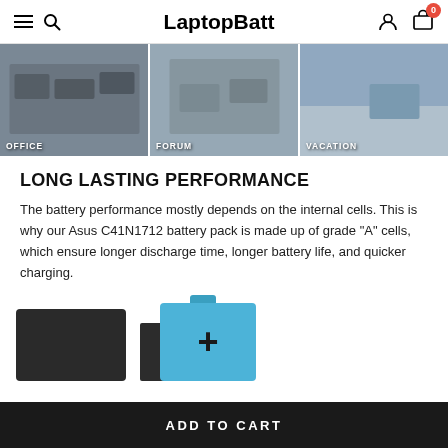LaptopBatt
[Figure (photo): Three panel image strip showing OFFICE scene (people working with laptops in a meeting room), FORUM scene (two people with laptops at a desk), and VACATION scene (person using laptop outdoors near water)]
LONG LASTING PERFORMANCE
The battery performance mostly depends on the internal cells. This is why our Asus C41N1712 battery pack is made up of grade "A" cells, which ensure longer discharge time, longer battery life, and quicker charging.
[Figure (illustration): Two product images: a dark rectangular laptop battery on the left, and a blue battery illustration with a plus sign and a small businessman figure on the right]
ADD TO CART